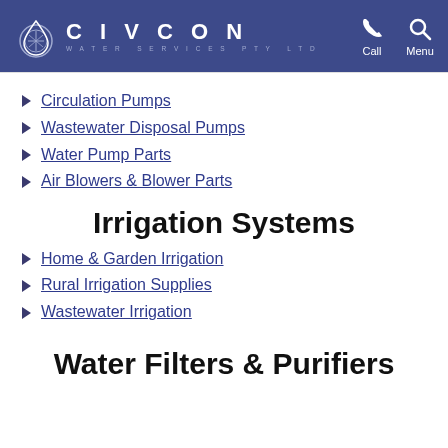CIVCON WATER SERVICES PTY LTD — Call | Menu
Circulation Pumps
Wastewater Disposal Pumps
Water Pump Parts
Air Blowers & Blower Parts
Irrigation Systems
Home & Garden Irrigation
Rural Irrigation Supplies
Wastewater Irrigation
Water Filters & Purifiers